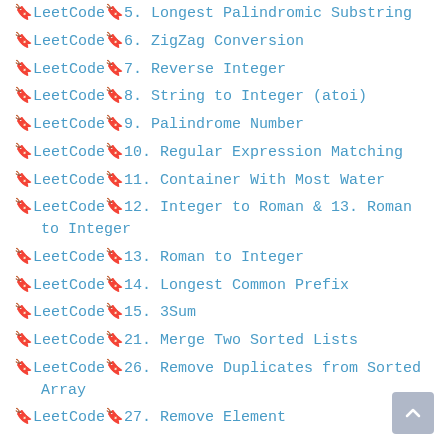🔖LeetCode🔖5. Longest Palindromic Substring
🔖LeetCode🔖6. ZigZag Conversion
🔖LeetCode🔖7. Reverse Integer
🔖LeetCode🔖8. String to Integer (atoi)
🔖LeetCode🔖9. Palindrome Number
🔖LeetCode🔖10. Regular Expression Matching
🔖LeetCode🔖11. Container With Most Water
🔖LeetCode🔖12. Integer to Roman & 13. Roman to Integer
🔖LeetCode🔖13. Roman to Integer
🔖LeetCode🔖14. Longest Common Prefix
🔖LeetCode🔖15. 3Sum
🔖LeetCode🔖21. Merge Two Sorted Lists
🔖LeetCode🔖26. Remove Duplicates from Sorted Array
🔖LeetCode🔖27. Remove Element